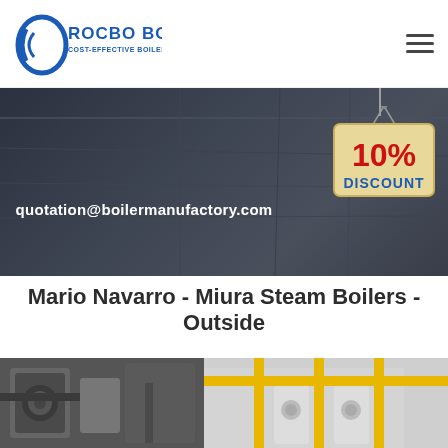ROCBO BOILER - COST-EFFECTIVE BOILER SUPPLIER
[Figure (photo): Industrial boiler facility dark hero banner with email quotation@boilermanufactory.com and 10% DISCOUNT badge hanging sign]
Mario Navarro - Miura Steam Boilers - Outside
[Figure (photo): Two side-by-side photos of Miura steam boilers outside installation]